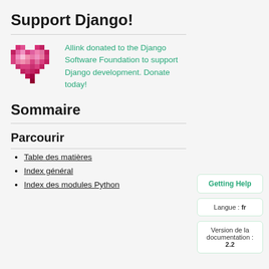Support Django!
[Figure (illustration): Pixel art heart icon in pink/magenta colors]
Allink donated to the Django Software Foundation to support Django development. Donate today!
Sommaire
Parcourir
Getting Help
Langue : fr
Version de la documentation : 2.2
Table des matières
Index général
Index des modules Python